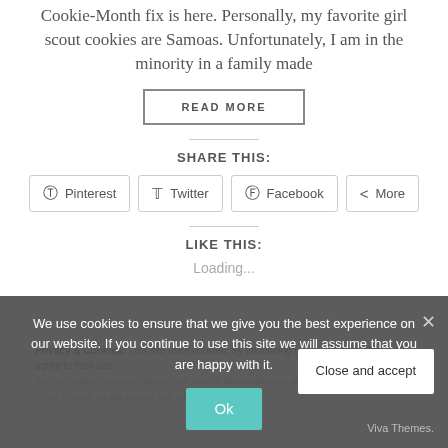Cookie-Month fix is here. Personally, my favorite girl scout cookies are Samoas. Unfortunately, I am in the minority in a family made
READ MORE
SHARE THIS:
Pinterest
Twitter
Facebook
More
LIKE THIS:
Loading...
We use cookies to ensure that we give you the best experience on our website. If you continue to use this site we will assume that you are happy with it.
Ok
Privacy & Cookies: This site uses cookies. By continuing to use this website, you agree to their use.
Close and accept
Viva Themes.